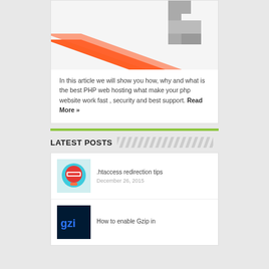[Figure (illustration): Partial view of a PHP web hosting decorative graphic with an orange diagonal stripe and gray pixel-art style shapes on a light background]
In this article we will show you how, why and what is the best PHP web hosting what make your php website work fast , security and best support. Read More »
LATEST POSTS
[Figure (photo): Thumbnail image of a red stop/redirect sign on a teal/blue circular background for .htaccess redirection tips article]
.htaccess redirection tips
December 26, 2015
[Figure (photo): Thumbnail image with Gzip text glowing blue on dark background for How to enable Gzip article]
How to enable Gzip in